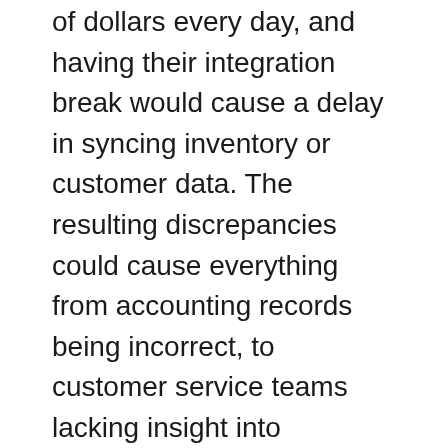of dollars every day, and having their integration break would cause a delay in syncing inventory or customer data. The resulting discrepancies could cause everything from accounting records being incorrect, to customer service teams lacking insight into purchases. It was bad business, so Rich and his team avoided hitting their API limit at all costs.
The biggest near miss came in 2015. One of their clients operated a store with hundreds of products, each with five images and over a dozen metafields, meaning that just one product accounted for 15 to 18 API calls. This was the first time the team realized they could